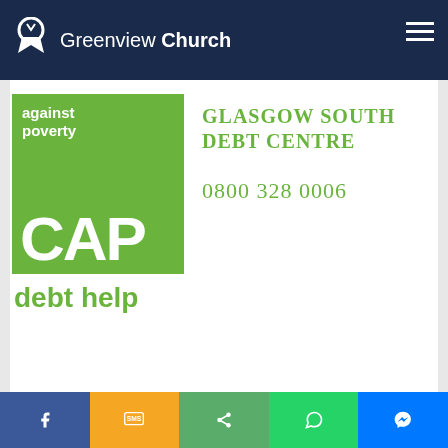Greenview Church
[Figure (logo): CAP (Christians Against Poverty) debt help logo - green square with 'against poverty' text, large CAP letters, and 'debt help' text below in green]
Glasgow South Debt Centre
0800 328 0006
[Figure (map): Street map showing Pollokshaws Rd and Mannering Rd intersection area in Glasgow]
1439 Pollokshaws Rd
Glasgow
G41 3RQ
11AM & 6PM.